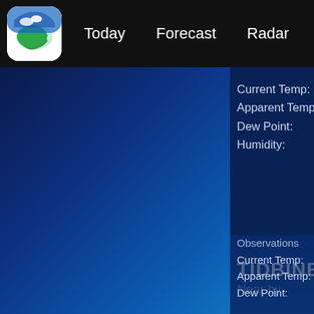Today  Forecast  Radar  Moon  Marine  Statistics
Current Temp:
Apparent Temp:
Dew Point:
Humidity:
TIDBINBILL
Near by
Now
17.0°
Observations
Current Temp:
Apparent Temp:
Dew Point: